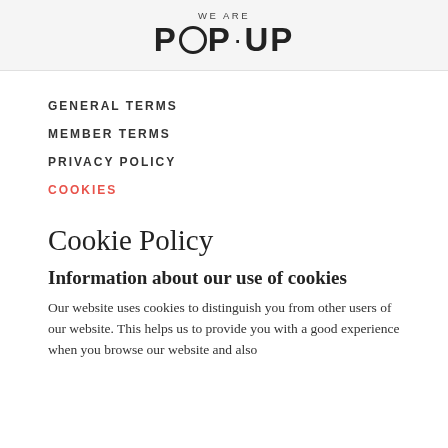WE ARE POP·UP
GENERAL TERMS
MEMBER TERMS
PRIVACY POLICY
COOKIES
Cookie Policy
Information about our use of cookies
Our website uses cookies to distinguish you from other users of our website. This helps us to provide you with a good experience when you browse our website and also